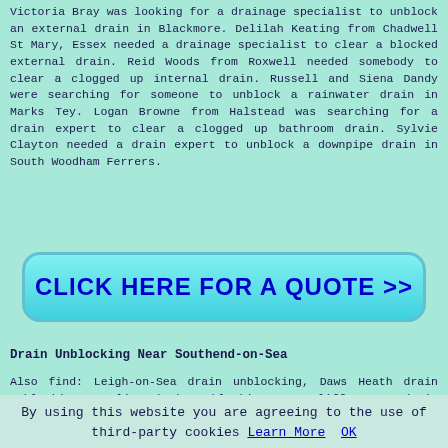Victoria Bray was looking for a drainage specialist to unblock an external drain in Blackmore. Delilah Keating from Chadwell St Mary, Essex needed a drainage specialist to clear a blocked external drain. Reid Woods from Roxwell needed somebody to clear a clogged up internal drain. Russell and Siena Dandy were searching for someone to unblock a rainwater drain in Marks Tey. Logan Browne from Halstead was searching for a drain expert to clear a clogged up bathroom drain. Sylvie Clayton needed a drain expert to unblock a downpipe drain in South Woodham Ferrers.
[Figure (other): Cyan/turquoise rounded rectangle button with bold blue text reading CLICK HERE FOR A QUOTE >>]
Drain Unblocking Near Southend-on-Sea
Also find: Leigh-on-Sea drain unblocking, Daws Heath drain unblocking, Barling drain unblocking, Westcliff-on-Sea drain unblocking, Rayleigh drain unblocking, Rochford drain unblocking, Great Wakering drain unblocking, Thorpe Bay drain unblocking, Hadleigh drain unblocking, Hawkwell drain unblocking,
By using this website you are agreeing to the use of third-party cookies Learn More OK